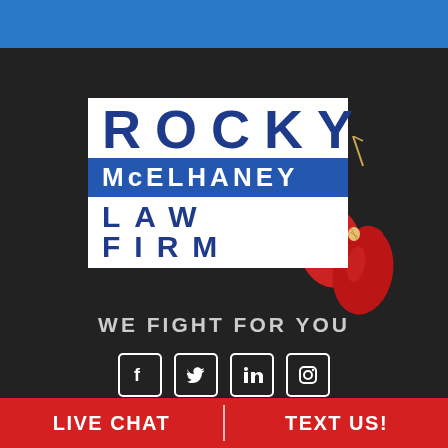[Figure (logo): Rocky McElhaney Law Firm logo with boxing gloves, blue and white design with tagline 'WE FIGHT FOR YOU' on dark background with blue top bar and red bottom bar with LIVE CHAT and TEXT US! buttons]
ROCKY McELHANEY LAW FIRM
WE FIGHT FOR YOU
LIVE CHAT
TEXT US!